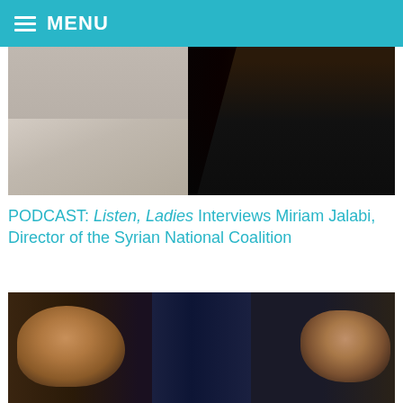MENU
[Figure (photo): Photo of a woman with long dark hair wearing a black top, standing in a lobby or hallway with a light-colored marble floor. Other people visible in the background.]
PODCAST: Listen, Ladies Interviews Miriam Jalabi, Director of the Syrian National Coalition
[Figure (photo): Photo of two men facing each other, appearing to be in conversation. The man on the left (John Kerry) faces right, wearing a suit with an orange tie. The man on the right (Sergei Lavrov) faces left, wearing a suit with a grey tie. Dark blue curtains visible in the background.]